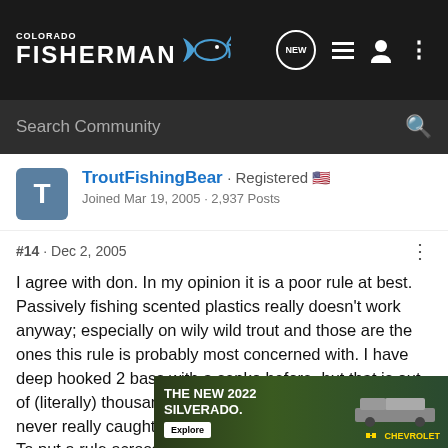Colorado Fisherman - forum header with navigation icons (NEW, list, person, dots)
Search Community
TroutFishingBear · Registered 🇺🇸
Joined Mar 19, 2005 · 2,937 Posts
#14 · Dec 2, 2005
I agree with don. In my opinion it is a poor rule at best. Passively fishing scented plastics really doesn't work anyway; especially on wily wild trout and those are the ones this rule is probably most concerned with. I have deep hooked 2 bass with a senko before, but that is out of (literally) thousands I have caught on senkos. I have never really caught a fish on a passively fished plastic. To put a rule across the entire state just cuz they say it happens occaisionally at spinney isn't right. Spinney [ad covers text] ot they will be a [ad covers text] e.
[Figure (screenshot): Chevrolet Silverado 2022 advertisement banner overlaid on bottom of post]